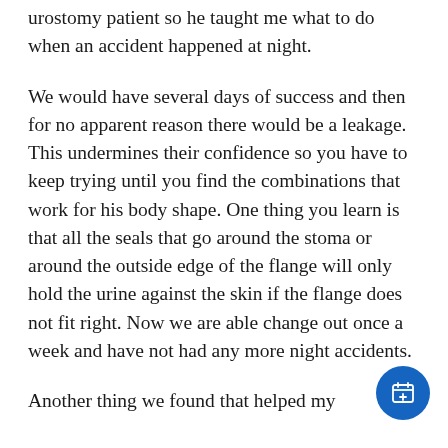urostomy patient so he taught me what to do when an accident happened at night.
We would have several days of success and then for no apparent reason there would be a leakage. This undermines their confidence so you have to keep trying until you find the combinations that work for his body shape. One thing you learn is that all the seals that go around the stoma or around the outside edge of the flange will only hold the urine against the skin if the flange does not fit right. Now we are able change out once a week and have not had any more night accidents.
Another thing we found that helped my
[Figure (other): Blue circular floating action button with a calendar/add icon in white]